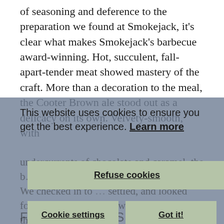of seasoning and deference to the preparation we found at Smokejack, it's clear what makes Smokejack's barbecue award-winning. Hot, succulent, fall-apart-tender meat showed mastery of the craft. More than a decoration to the meal, the Cooter Brown ale stood out as a delicacy on its own. Velvety-smooth, with
This website uses cookies to ensure you get the best experience. Learn more
Refuse cookies
Cookie settings
Got it!
We checked in to ... settled, and looked forward to catching up with our friends the fo...
FRESH GREENS